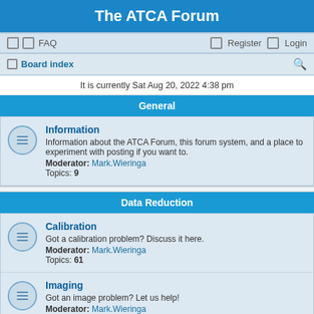The ATCA Forum
FAQ   Register   Login
Board index
It is currently Sat Aug 20, 2022 4:38 pm
General
Information
Information about the ATCA Forum, this forum system, and a place to experiment with posting if you want to.
Moderator: Mark.Wieringa
Topics: 9
Data Reduction
Calibration
Got a calibration problem? Discuss it here.
Moderator: Mark.Wieringa
Topics: 61
Imaging
Got an image problem? Let us help!
Moderator: Mark.Wieringa
Topics: 40
MIRIAD
Is MIRIAD being a pain? Let us know your experience.
Moderator: Mark.Wieringa